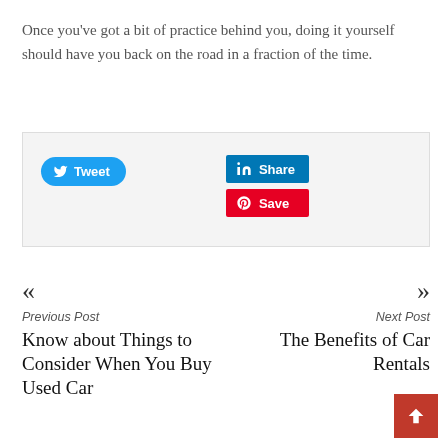Once you've got a bit of practice behind you, doing it yourself should have you back on the road in a fraction of the time.
[Figure (other): Social sharing buttons: Tweet (Twitter), Share (LinkedIn), Save (Pinterest)]
« Previous Post
Know about Things to Consider When You Buy Used Car
Next Post »
The Benefits of Car Rentals